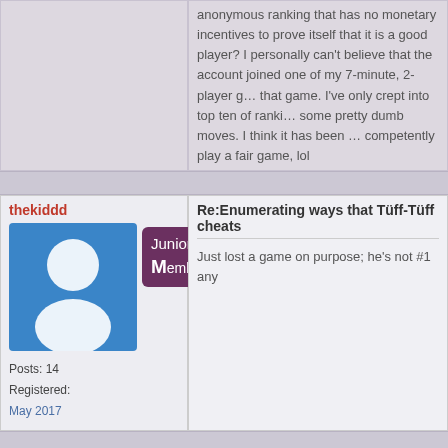anonymous ranking that has no monetary incentives to prove itself that it is a good player? I personally can't believe that the account joined one of my 7-minute, 2-player games and threw that game. I've only crept into top ten of rankings by making some pretty dumb moves. I think it has been a bot unable to competently play a fair game, lol
thekiddd
Posts: 14
Registered:
May 2017
Re:Enumerating ways that Tüff-Tüff cheats
Just lost a game on purpose; he's not #1 any
Goto Forum:
Ticket to Ride - the Digital Game - English
Terms of Use – DoW Account – Privacy P...
Copyright ©2002-